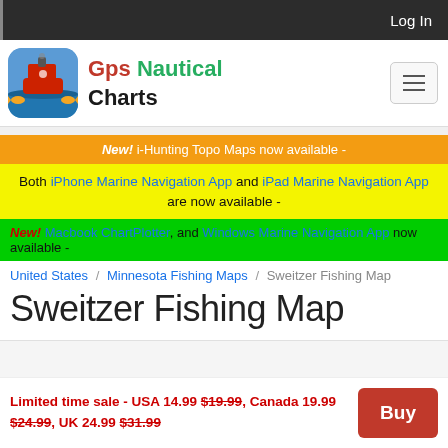Log In
[Figure (logo): GPS Nautical Charts app logo with ship and fish on blue background]
Gps Nautical Charts
New! i-Hunting Topo Maps now available -
Both iPhone Marine Navigation App and iPad Marine Navigation App are now available -
New! Macbook ChartPlotter, and Windows Marine Navigation App now available -
United States / Minnesota Fishing Maps / Sweitzer Fishing Map
Sweitzer Fishing Map
Limited time sale - USA 14.99 $19.99, Canada 19.99 $24.99, UK 24.99 $31.99